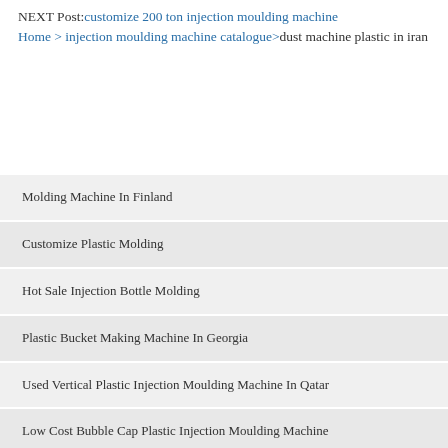NEXT Post:customize 200 ton injection moulding machine
Home > injection moulding machine catalogue>dust machine plastic in iran
Molding Machine In Finland
Customize Plastic Molding
Hot Sale Injection Bottle Molding
Plastic Bucket Making Machine In Georgia
Used Vertical Plastic Injection Moulding Machine In Qatar
Low Cost Bubble Cap Plastic Injection Moulding Machine